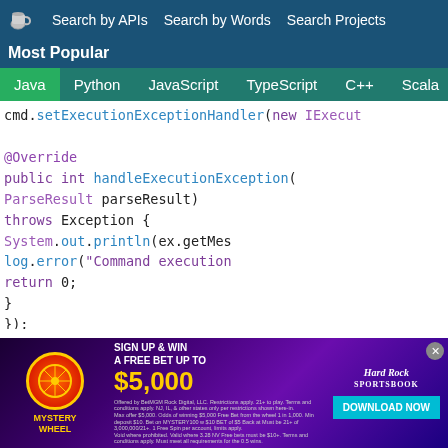Search by APIs  Search by Words  Search Projects  Most Popular
Java  Python  JavaScript  TypeScript  C++  Scala
cmd.setExecutionExceptionHandler(new IExecut
@Override
public int handleExecutionException(
ParseResult parseResult)
    throws Exception {
    System.out.println(ex.getMes
    log.error("Command execution
    return 0;
}
});

terminal = TerminalBuilder.builder()
    .build();
reader = LineReaderBuilder.builder()
[Figure (screenshot): Hard Rock sports betting advertisement banner: 'MYSTERY WHEEL - SIGN UP & WIN A FREE BET UP TO $5,000 - DOWNLOAD NOW']